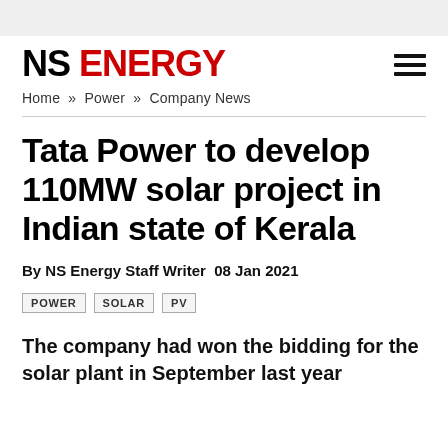NS ENERGY
Home » Power » Company News
Tata Power to develop 110MW solar project in Indian state of Kerala
By NS Energy Staff Writer  08 Jan 2021
POWER
SOLAR
PV
The company had won the bidding for the solar plant in September last year